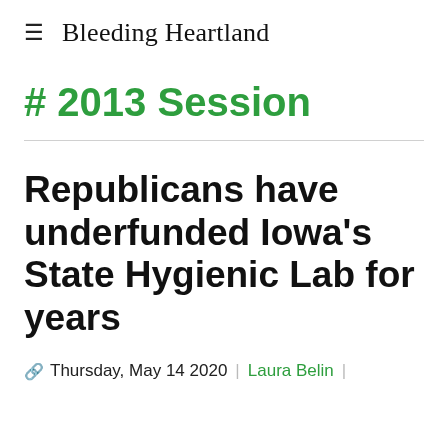≡  Bleeding Heartland
# 2013 Session
Republicans have underfunded Iowa's State Hygienic Lab for years
🔗 Thursday, May 14 2020 | Laura Belin |